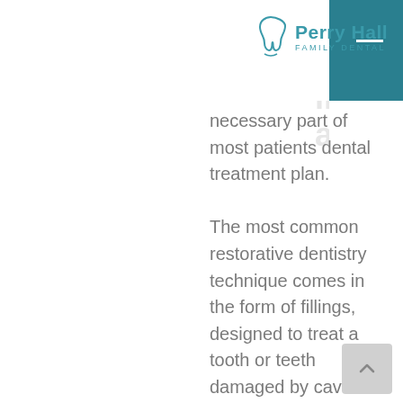[Figure (logo): Perry Hall Family Dental logo with tooth icon]
necessary part of most patients dental treatment plan.

The most common restorative dentistry technique comes in the form of fillings, designed to treat a tooth or teeth damaged by cavities or caries. Some patients also require replacements for fillings that are at the end of their lifespan (which is generally about 15 years) or for a